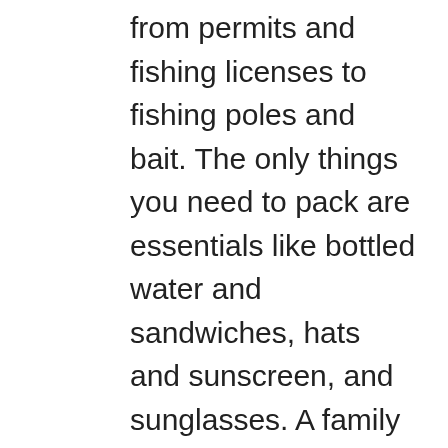from permits and fishing licenses to fishing poles and bait. The only things you need to pack are essentials like bottled water and sandwiches, hats and sunscreen, and sunglasses. A family fishing trip is a great way to make memories with your kids, especially if you're all learning something new together. The crew of your fishing charter boat will even offer a few tips for those who are truly new to the sport. Several area restaurants even offer cook-your-catch menu items so if you make the catch of a lifetime, you can share it with your family at dinner for a once-in-a-lifetime experience. The best thing about Key West is that there are many good companies that arrange Good Fishing Guides in Key West, Florida